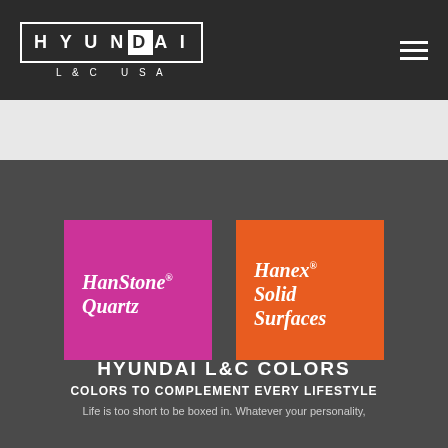[Figure (logo): Hyundai L&C USA logo — white text on dark background with bordered box]
[Figure (logo): HanStone Quartz logo — white italic text on magenta/pink square]
[Figure (logo): Hanex Solid Surfaces logo — white italic text on orange square]
HYUNDAI L&C COLORS
COLORS TO COMPLEMENT EVERY LIFESTYLE
Life is too short to be boxed in. Whatever your personality,